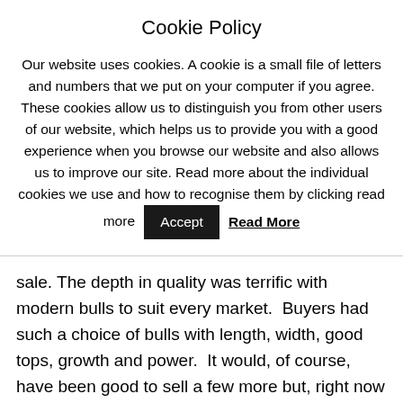Cookie Policy
Our website uses cookies. A cookie is a small file of letters and numbers that we put on your computer if you agree. These cookies allow us to distinguish you from other users of our website, which helps us to provide you with a good experience when you browse our website and also allows us to improve our site. Read more about the individual cookies we use and how to recognise them by clicking read more  [Accept]  [Read More]
sale. The depth in quality was terrific with modern bulls to suit every market.  Buyers had such a choice of bulls with length, width, good tops, growth and power.  It would, of course, have been good to sell a few more but, right now and for the autumn market, to sell fifteen more on the year and to set a record average again, up by some £380, is tremendous and indicative of the confidence in the Limousin breed and its profitability. It's